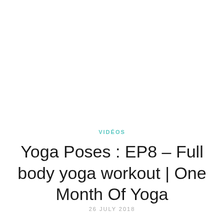VIDÉOS
Yoga Poses : EP8 – Full body yoga workout | One Month Of Yoga
26 JULY 2018